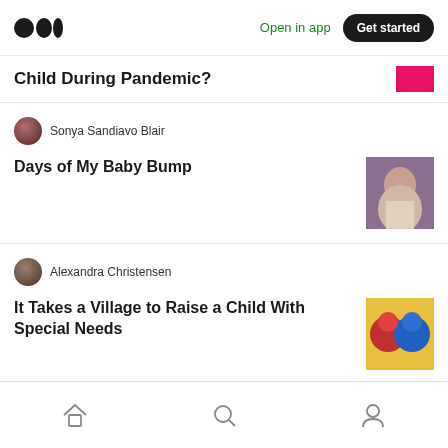Medium — Open in app | Get started
Child During Pandemic?
Sonya Sandiavo Blair
Days of My Baby Bump
Alexandra Christensen
It Takes a Village to Raise a Child With Special Needs
Lindsey Elmore, PharmD, BCPS
Home-Bound Activities for Kids
Home | Search | Profile